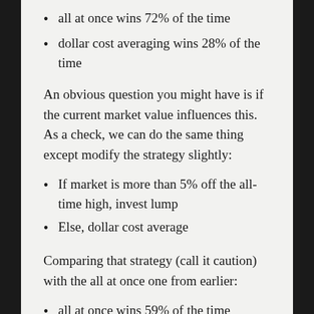all at once wins 72% of the time
dollar cost averaging wins 28% of the time
An obvious question you might have is if the current market value influences this. As a check, we can do the same thing except modify the strategy slightly:
If market is more than 5% off the all-time high, invest lump
Else, dollar cost average
Comparing that strategy (call it caution) with the all at once one from earlier:
all at once wins 59% of the time